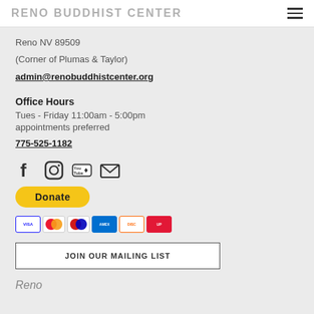RENO BUDDHIST CENTER
Reno NV 89509
(Corner of Plumas & Taylor)
admin@renobuddhistcenter.org
Office Hours
Tues - Friday 11:00am - 5:00pm
appointments preferred
775-525-1182
[Figure (infographic): Social media icons: Facebook, Instagram, YouTube, Email]
[Figure (infographic): PayPal Donate button with payment card icons (Visa, Mastercard, Maestro, Amex, Discover, UnionPay)]
[Figure (infographic): JOIN OUR MAILING LIST button]
Reno